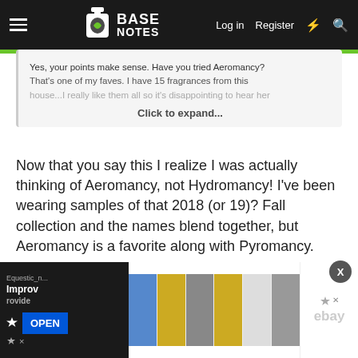Base Notes — Log in  Register
Yes, your points make sense. Have you tried Aeromancy? That's one of my faves. I have 15 fragrances from this house...I really like them all so it's disappointing to hear her
Click to expand...
Now that you say this I realize I was actually thinking of Aeromancy, not Hydromancy! I've been wearing samples of that 2018 (or 19)? Fall collection and the names blend together, but Aeromancy is a favorite along with Pyromancy.
Juxtapozbliss ♂
[Figure (screenshot): Advertisement banner at bottom showing eBay product images and an OPEN button, with an Equestic notification overlay on the left.]